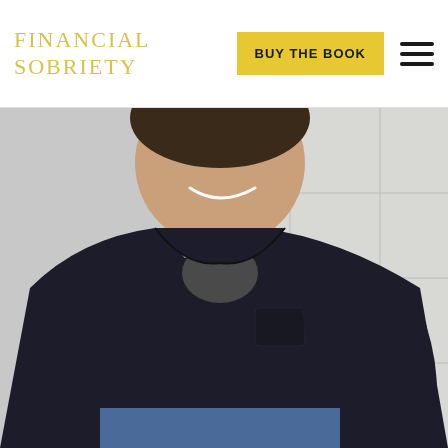FINANCIAL SOBRIETY
BUY THE BOOK
[Figure (photo): A smiling middle-aged man wearing a black quilted jacket over a dark grey t-shirt and blue jeans, standing in front of a white tiled wall background.]